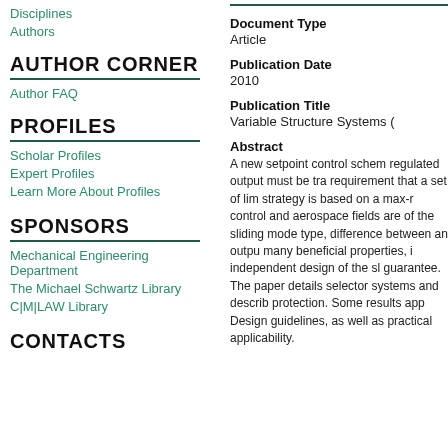Disciplines
Authors
AUTHOR CORNER
Author FAQ
PROFILES
Scholar Profiles
Expert Profiles
Learn More About Profiles
SPONSORS
Mechanical Engineering Department
The Michael Schwartz Library
C|M|LAW Library
CONTACTS
Document Type
Article
Publication Date
2010
Publication Title
Variable Structure Systems (
Abstract
A new setpoint control scheme regulated output must be tra requirement that a set of lim strategy is based on a max-r control and aerospace fields are of the sliding mode type, difference between an outpu many beneficial properties, i independent design of the sl guarantee. The paper details selector systems and describ protection. Some results app Design guidelines, as well as practical applicability.